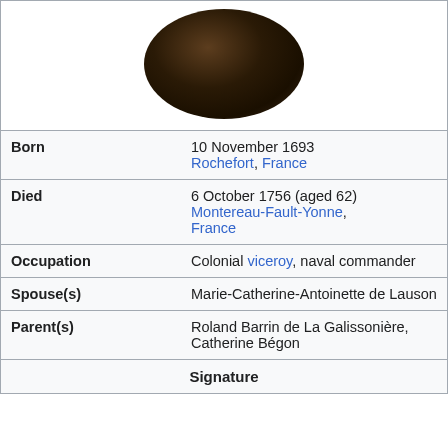[Figure (photo): Portrait painting of a person, dark tones, circular crop showing upper body and face]
| Born | 10 November 1693
Rochefort, France |
| Died | 6 October 1756 (aged 62)
Montereau-Fault-Yonne, France |
| Occupation | Colonial viceroy, naval commander |
| Spouse(s) | Marie-Catherine-Antoinette de Lauson |
| Parent(s) | Roland Barrin de La Galissonière, Catherine Bégon |
| Signature |  |